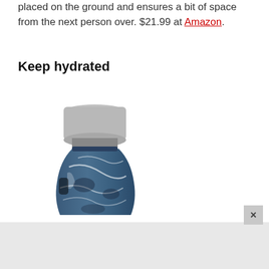placed on the ground and ensures a bit of space from the next person over. $21.99 at Amazon.
Keep hydrated
[Figure (photo): A blue marble-patterned water bottle with a silver cap, partially visible, cut off at the bottom of the frame.]